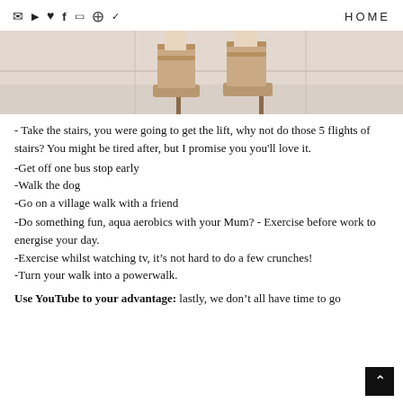HOME
[Figure (photo): Close-up photo of a person's legs wearing tall nude platform high-heel shoes, standing on a light pavement/sidewalk]
- Take the stairs, you were going to get the lift, why not do those 5 flights of stairs? You might be tired after, but I promise you you'll love it.
-Get off one bus stop early
-Walk the dog
-Go on a village walk with a friend
-Do something fun, aqua aerobics with your Mum? - Exercise before work to energise your day.
-Exercise whilst watching tv, it's not hard to do a few crunches!
-Turn your walk into a powerwalk.
Use YouTube to your advantage: lastly, we don't all have time to go